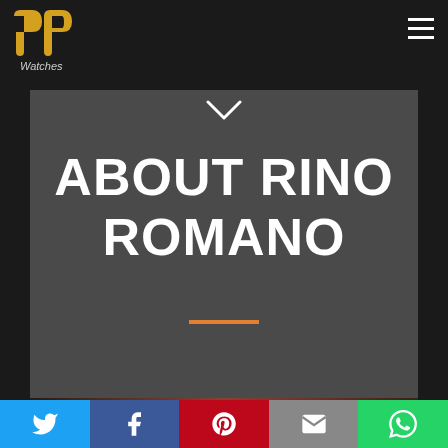PP Watches — navigation header with logo and menu button
ABOUT RINO ROMANO
[Figure (screenshot): Dark grey banner with 'ABOUT RINO ROMANO' title in large white bold text, orange horizontal divider line below, on a dark charcoal background with a small chevron at top]
Social share bar: Twitter, Facebook, Pinterest, Email, WhatsApp